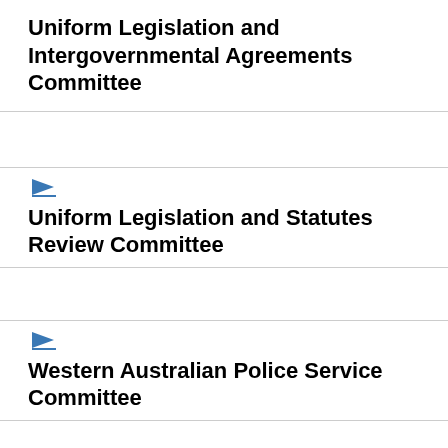Uniform Legislation and Intergovernmental Agreements Committee
[Figure (illustration): Blue right-pointing arrow icon with underline]
Uniform Legislation and Statutes Review Committee
[Figure (illustration): Blue right-pointing arrow icon with underline]
Western Australian Police Service Committee